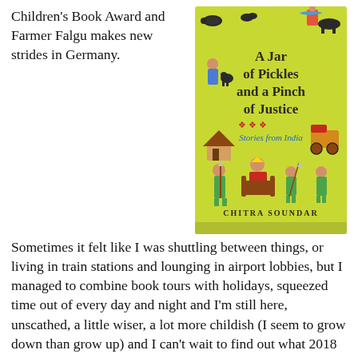Children's Book Award and Farmer Falgu makes new strides in Germany.
[Figure (illustration): Book cover of 'A Jar of Pickles and a Pinch of Justice – Stories from India' by Chitra Soundar, featuring colorful folk-art style illustrations of Indian figures, animals, and scenes on a lime-green background.]
Sometimes it felt like I was shuttling between things, or living in train stations and lounging in airport lobbies, but I managed to combine book tours with holidays, squeezed time out of every day and night and I'm still here, unscathed, a little wiser, a lot more childish (I seem to grow down than grow up) and I can't wait to find out what 2018 will bring.
Thank you to everyone of you who came to my events, talked me through a bad draft of the novel,